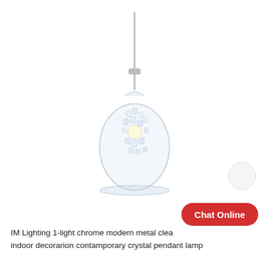[Figure (photo): A crystal pendant lamp with chrome metal cord and clear glass teardrop-shaped shade containing crystal decorations inside, lit from within, hanging against a white background.]
IM Lighting 1-light chrome modern metal clear indoor decorarion contamporary crystal pendant lamp